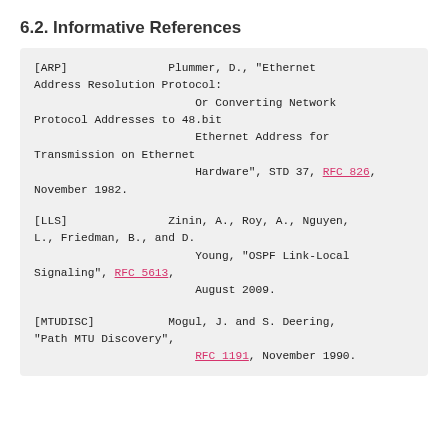6.2. Informative References
[ARP]               Plummer, D., "Ethernet Address Resolution Protocol: Or Converting Network Protocol Addresses to 48.bit Ethernet Address for Transmission on Ethernet Hardware", STD 37, RFC 826, November 1982.
[LLS]               Zinin, A., Roy, A., Nguyen, L., Friedman, B., and D. Young, "OSPF Link-Local Signaling", RFC 5613, August 2009.
[MTUDISC]           Mogul, J. and S. Deering, "Path MTU Discovery", RFC 1191, November 1990.